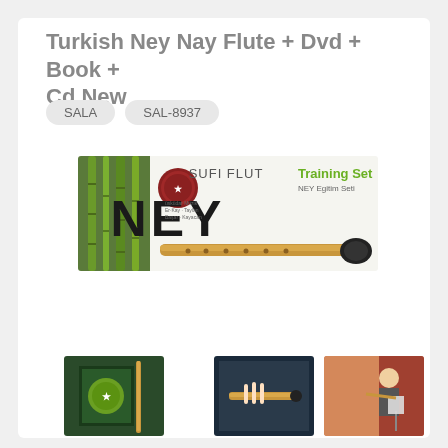Turkish Ney Nay Flute + Dvd + Book + Cd New
SALA   SAL-8937
[Figure (photo): Product box for SUFI FLUT Training Set (NEY) showing bamboo imagery and a ney flute instrument]
[Figure (photo): Thumbnail of ney flute and book]
[Figure (photo): Thumbnail of ney flute on dark background]
[Figure (photo): Thumbnail of person playing ney flute]